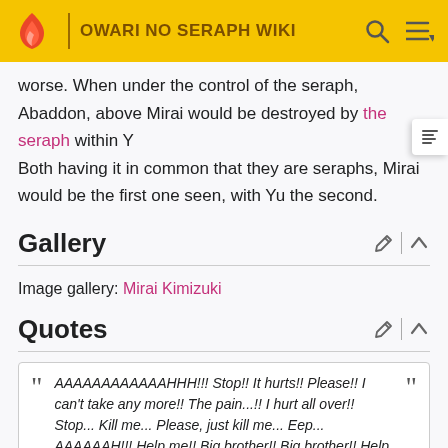OWARI NO SERAPH WIKI
worse. When under the control of the seraph, Abaddon, above Mirai would be destroyed by the seraph within Yu. Both having it in common that they are seraphs, Mirai would be the first one seen, with Yu the second.
Gallery
Image gallery: Mirai Kimizuki
Quotes
" AAAAAAAAAAAAHHH!!! Stop!! It hurts!! Please!! I can't take any more!! The pain...!! I hurt all over!! Stop... Kill me... Please, just kill me... Eep... AAAAAAH!!! Help me!! Big brother!! Big brother!! Help me!!! AAAAAAAAAAAAAAAAAH!!!! "